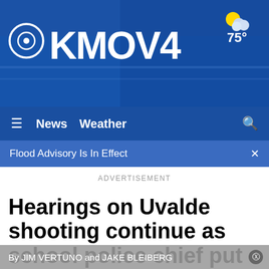[Figure (screenshot): KMOV4 CBS news website header banner with blue background showing city aerial photo, KMOV4 logo with CBS eye, partly cloudy weather icon and 75° temperature]
≡  News  Weather  🔍
Flood Advisory Is In Effect  ×
ADVERTISEMENT
Hearings on Uvalde shooting continue as school police chief put on leave
By JIM VERTUNO and JAKE BLEIBERG